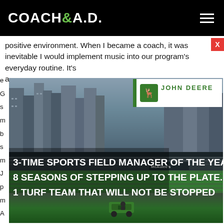COACH&A.D.
positive environment. When I became a coach, it was inevitable I would implement music into our program's everyday routine. It's a
[Figure (photo): John Deere advertisement showing a baseball stadium field with overlaid text: '3-TIME SPORTS FIELD MANAGER OF THE YEAR. 8 SEASONS OF STEPPING UP TO THE PLATE. 1 TURF TEAM THAT WILL NOT BE STOPPED'. John Deere logo badge visible in upper right of image.]